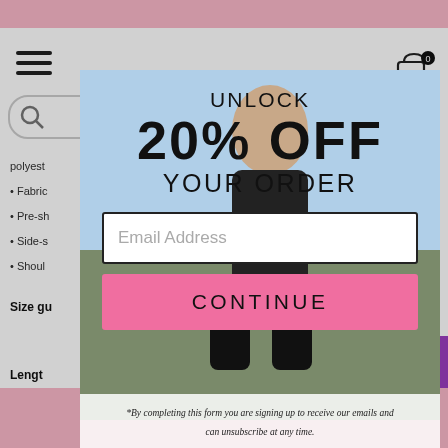[Figure (screenshot): Background of an e-commerce fashion website showing navigation bar with hamburger menu, search bar, cart icon, product description bullet points, size guide, and a purple scroll-to-top button.]
[Figure (screenshot): Modal popup overlay showing a woman in athletic wear. The modal contains promotional text 'UNLOCK 20% OFF YOUR ORDER', an email address input field, a pink CONTINUE button, and a disclaimer footnote.]
UNLOCK
20% OFF
YOUR ORDER
Email Address
CONTINUE
*By completing this form you are signing up to receive our emails and can unsubscribe at any time.